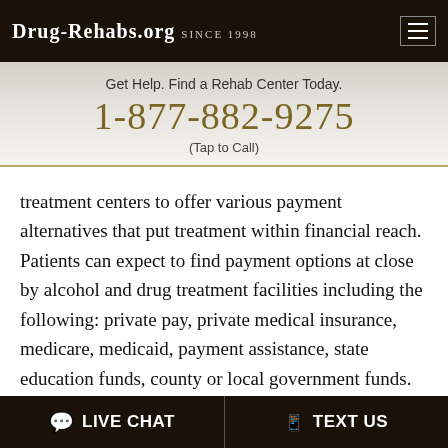Drug-Rehabs.org Since 1998
Get Help. Find a Rehab Center Today.
1-877-882-9275
(Tap to Call)
treatment centers to offer various payment alternatives that put treatment within financial reach. Patients can expect to find payment options at close by alcohol and drug treatment facilities including the following: private pay, private medical insurance, medicare, medicaid, payment assistance, state education funds, county or local government funds.
Regardless of a client's financial situation, finances
LIVE CHAT   TEXT US